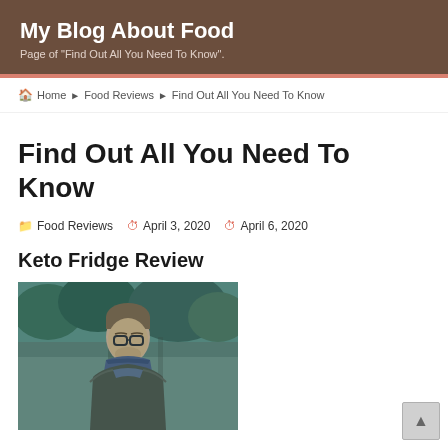My Blog About Food
Page of "Find Out All You Need To Know".
Home ▶ Food Reviews ▶ Find Out All You Need To Know
Find Out All You Need To Know
Food Reviews   April 3, 2020   April 6, 2020
Keto Fridge Review
[Figure (photo): Photo of a man with glasses and a bandana/scarf around his neck, outdoors with trees in background, blue-green tint]